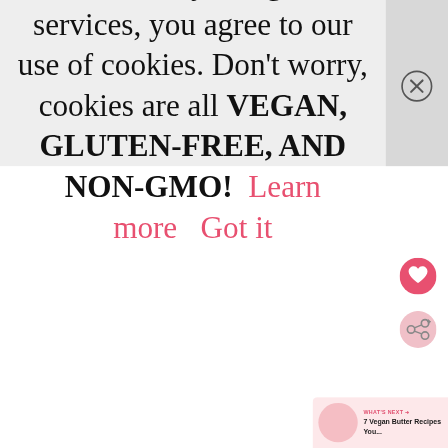Cookies help us deliver our services. By using our services, you agree to our use of cookies. Don't worry, cookies are all VEGAN, GLUTEN-FREE, AND NON-GMO!  Learn more   Got it
[Figure (other): Close (X circle) button in the top-right corner of the cookie banner]
[Figure (other): Pink circular heart/favorite button on the right side]
[Figure (other): Light pink circular share button on the right side]
WHAT'S NEXT → 7 Vegan Butter Recipes You...